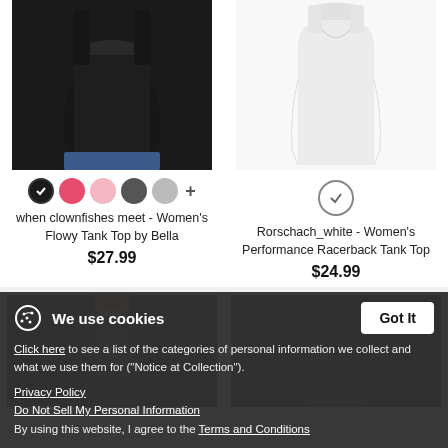[Figure (photo): Black women's flowy tank top product photo, partial torso view]
[Figure (photo): White women's performance racerback tank top product photo on mannequin]
when clownfishes meet - Women's Flowy Tank Top by Bella
$27.99
Rorschach_white - Women's Performance Racerback Tank Top
$24.99
[Figure (photo): Black women's racerback tank top, partial torso, bottom row left]
[Figure (photo): Black women's tank top, partial torso, bottom row right]
We use cookies
Click here to see a list of the categories of personal information we collect and what we use them for ("Notice at Collection").
Privacy Policy
Do Not Sell My Personal Information
By using this website, I agree to the Terms and Conditions